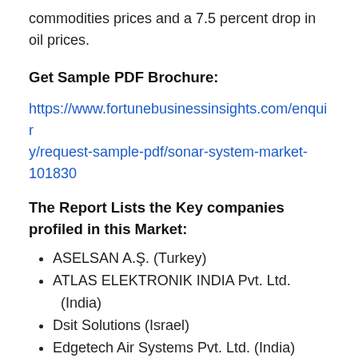commodities prices and a 7.5 percent drop in oil prices.
Get Sample PDF Brochure:
https://www.fortunebusinessinsights.com/enquiry/request-sample-pdf/sonar-system-market-101830
The Report Lists the Key companies profiled in this Market:
ASELSAN A.Ş. (Turkey)
ATLAS ELEKTRONIK INDIA Pvt. Ltd. (India)
Dsit Solutions (Israel)
Edgetech Air Systems Pvt. Ltd. (India)
FURUNO ELECTRIC CO., LTD. (Japan)